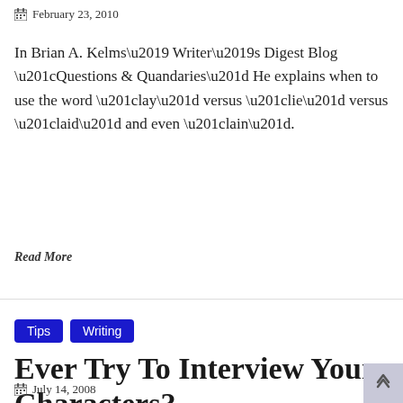February 23, 2010
In Brian A. Kelms’ Writer’s Digest Blog “Questions & Quandaries” He explains when to use the word “lay” versus “lie” versus “laid” and even “lain”.
Read More
Tips  Writing
Ever Try To Interview Your Characters?
July 14, 2008